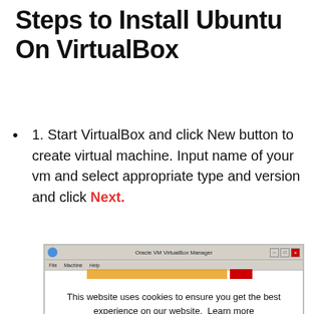Steps to Install Ubuntu On VirtualBox
1. Start VirtualBox and click New button to create virtual machine. Input name of your vm and select appropriate type and version and click Next.
[Figure (screenshot): Screenshot of Oracle VM VirtualBox Manager with a cookie consent overlay reading 'This website uses cookies to ensure you get the best experience on our website. Learn more' and a green 'Got it!' button.]